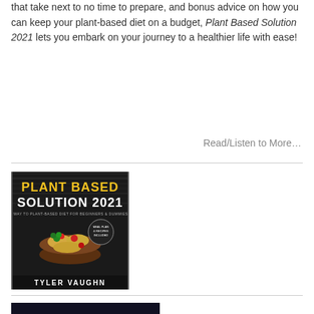that take next to no time to prepare, and bonus advice on how you can keep your plant-based diet on a budget, Plant Based Solution 2021 lets you embark on your journey to a healthier life with ease!
Read/Listen to More…
[Figure (photo): Book cover: Plant Based Solution 2021 by Tyler Vaughn, showing a bowl of pasta with vegetables on a dark wood background]
[Figure (photo): Book cover: Hyphened-Nation Don't Check The Box, showing white text on a dark background with stars and partial American flag imagery]